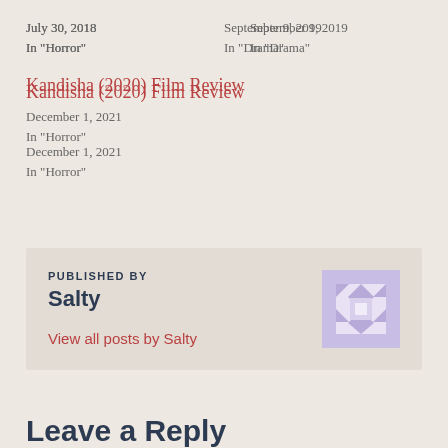July 30, 2018
In "Horror"
September 9, 2019
In "Drama"
Kandisha (2020) Film Review
December 1, 2021
In "Horror"
PUBLISHED BY
Salty
View all posts by Salty
Leave a Reply